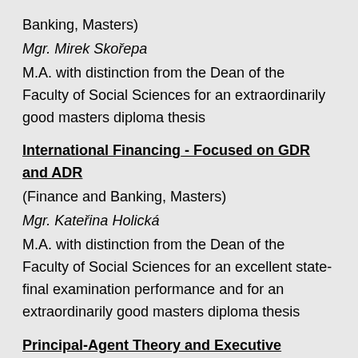Banking, Masters)
Mgr. Mirek Skořepa
M.A. with distinction from the Dean of the Faculty of Social Sciences for an extraordinarily good masters diploma thesis
International Financing - Focused on GDR and ADR
(Finance and Banking, Masters)
Mgr. Kateřina Holická
M.A. with distinction from the Dean of the Faculty of Social Sciences for an excellent state-final examination performance and for an extraordinarily good masters diploma thesis
Principal-Agent Theory and Executive Compensation